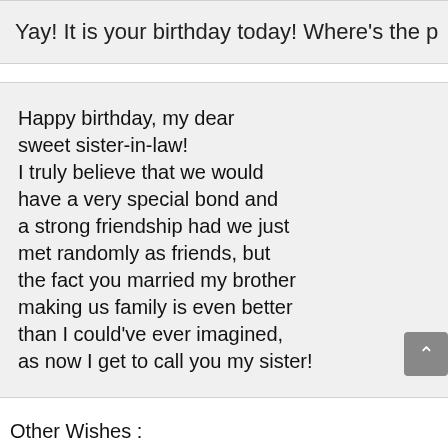Yay! It is your birthday today! Where's the p
Happy birthday, my dear sweet sister-in-law!
I truly believe that we would have a very special bond and a strong friendship had we just met randomly as friends, but the fact you married my brother making us family is even better than I could’ve ever imagined, as now I get to call you my sister!
Other Wishes :
99+ Birthday Wishes for Jethani in Hindi with Image | WishesHippo
149+ Happy Birthday Wishes for Devar in